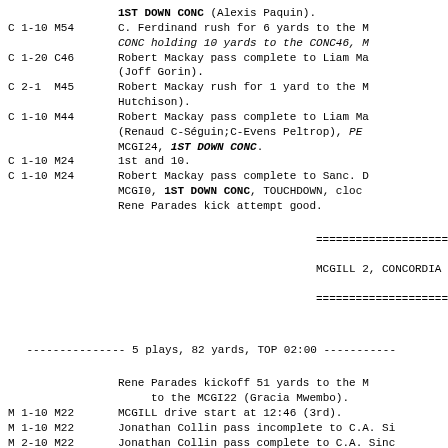1ST DOWN CONC (Alexis Paquin).
C 1-10 M54   C. Ferdinand rush for 6 yards to the M... CONC holding 10 yards to the CONC46, M...
C 1-20 C46   Robert Mackay pass complete to Liam Ma... (Joff Gorin).
C 2-1  M45   Robert Mackay rush for 1 yard to the M... Hutchison).
C 1-10 M44   Robert Mackay pass complete to Liam Ma... (Renaud C-Seguin;C-Evens Peltrop), PE... MCGI24, 1ST DOWN CONC.
C 1-10 M24   1st and 10.
C 1-10 M24   Robert Mackay pass complete to Sanc. D... MCGI0, 1ST DOWN CONC, TOUCHDOWN, cloc... Rene Parades kick attempt good.
=================== MCGILL 2, CONCORDIA ===================
--------------- 5 plays, 82 yards, TOP 02:00 -----------
Rene Parades kickoff 51 yards to the M... to the MCGI22 (Gracia Mwembo).
M 1-10 M22   MCGILL drive start at 12:46 (3rd).
M 1-10 M22   Jonathan Collin pass incomplete to C.A. Si...
M 2-10 M22   Jonathan Collin pass complete to C.A. Sinc... 1ST DOWN MCGI (Kyle Smith).
M 1-10 M36   T. Kuprowski rush for 9 yards to the MCGI4...
M 2-1  M45   T. Kuprowski rush for no gain to the MCGI4...
M 3-1  M45   Jonathan Collin rush for 2 yards to the MC...